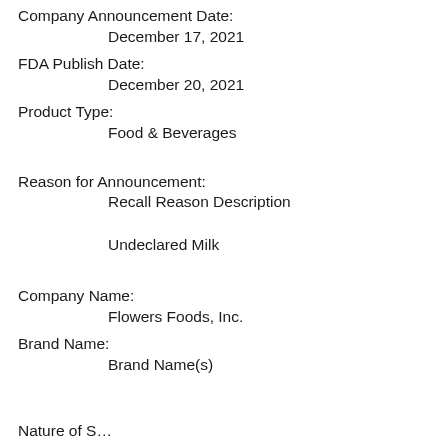Company Announcement Date:
December 17, 2021
FDA Publish Date:
December 20, 2021
Product Type:
Food & Beverages
Reason for Announcement:
Recall Reason Description
Undeclared Milk
Company Name:
Flowers Foods, Inc.
Brand Name:
Brand Name(s)
Nature of S…